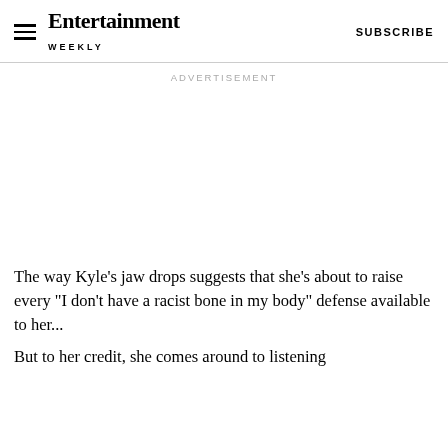Entertainment Weekly  SUBSCRIBE
ADVERTISEMENT
The way Kyle's jaw drops suggests that she's about to raise every "I don't have a racist bone in my body" defense available to her...
But to her credit, she comes around to listening